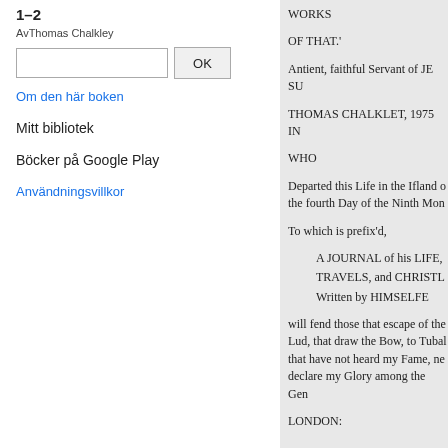1–2
AvThomas Chalkley
Om den här boken
Mitt bibliotek
Böcker på Google Play
Användningsvillkor
WORKS

OF THAT.'

Antient, faithful Servant of JE SU

THOMAS CHALKLET, 1975 IN

WHO

Departed this Life in the Ifland o the fourth Day of the Ninth Mon

To which is prefix'd,

A JOURNAL of his LIFE,
TRAVELS, and CHRISTL
Written by HIMSELFE

will fend those that escape of the Lud, that draw the Bow, to Tubal that have not heard my Fame, ne declare my Glory among the Gen

LONDON: